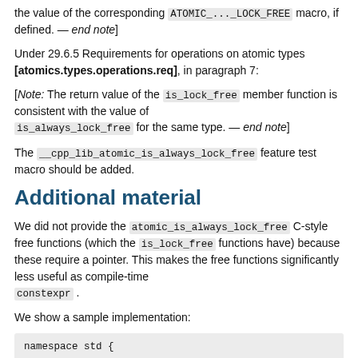the value of the corresponding ATOMIC_..._LOCK_FREE macro, if defined. — end note]
Under 29.6.5 Requirements for operations on atomic types [atomics.types.operations.req], in paragraph 7:
[Note: The return value of the is_lock_free member function is consistent with the value of is_always_lock_free for the same type. — end note]
The __cpp_lib_atomic_is_always_lock_free feature test macro should be added.
Additional material
We did not provide the atomic_is_always_lock_free C-style free functions (which the is_lock_free functions have) because these require a pointer. This makes the free functions significantly less useful as compile-time constexpr .
We show a sample implementation:
namespace std {